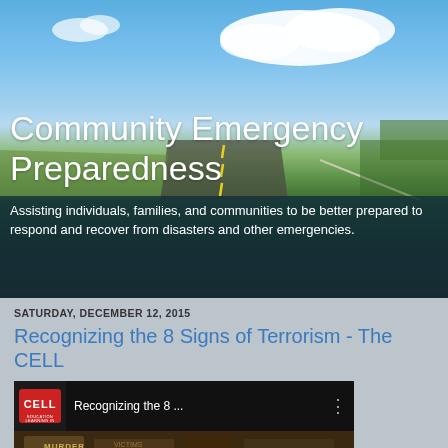[Figure (photo): Hero banner image showing a road stretching into the distance with blue sky, white clouds, green trees on the right, and road markings visible. Dark teal overlay at bottom of hero with white subtitle text.]
Community Emergency Preparedness
Assisting individuals, families, and communities to be better prepared to respond and recover from disasters and other emergencies.
SATURDAY, DECEMBER 12, 2015
Recognizing the 8 Signs of Terrorism - The CELL
[Figure (screenshot): Video thumbnail showing the CELL logo on the left and text 'Recognizing the 8...' with a menu icon, over a dark background with an image of hands/text below.]